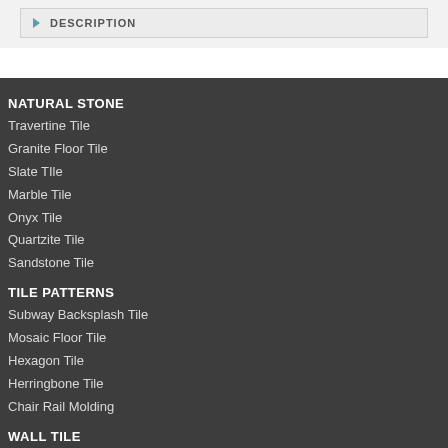DESCRIPTION
NATURAL STONE
Travertine Tile
Granite Floor Tile
Slate TIle
Marble Tile
Onyx Tile
Quartzite Tile
Sandstone Tile
TILE PATTERNS
Subway Backsplash Tile
Mosaic Floor Tile
Hexagon Tile
Herringbone Tile
Chair Rail Molding
WALL TILE
Subway Tile